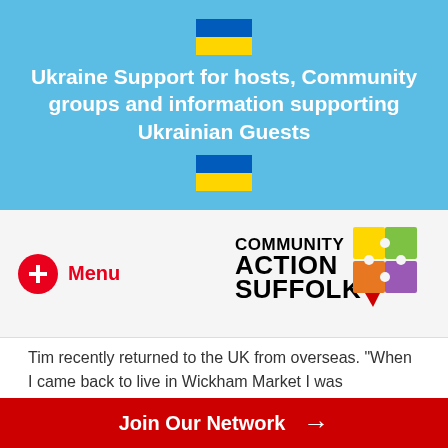[Figure (illustration): Ukrainian flag emoji above banner title]
Ukraine Support for hosts, Community groups and information supporting Ukrainian Guests
[Figure (illustration): Ukrainian flag emoji below banner title]
[Figure (logo): Menu button with red circle plus icon and Community Action Suffolk logo]
Tim recently returned to the UK from overseas. “When I came back to live in Wickham Market I was unemployed, and not entitled to benefits for 3 months, I did
Join Our Network →